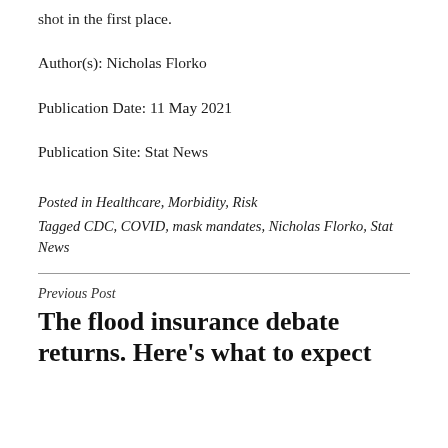shot in the first place.
Author(s): Nicholas Florko
Publication Date: 11 May 2021
Publication Site: Stat News
Posted in Healthcare, Morbidity, Risk
Tagged CDC, COVID, mask mandates, Nicholas Florko, Stat News
Previous Post
The flood insurance debate returns. Here’s what to expect